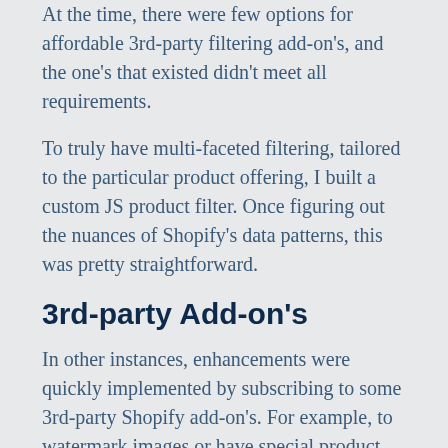At the time, there were few options for affordable 3rd-party filtering add-on's, and the one's that existed didn't meet all requirements.
To truly have multi-faceted filtering, tailored to the particular product offering, I built a custom JS product filter. Once figuring out the nuances of Shopify's data patterns, this was pretty straightforward.
3rd-party Add-on's
In other instances, enhancements were quickly implemented by subscribing to some 3rd-party Shopify add-on's. For example, to watermark images or have special product group pricing.